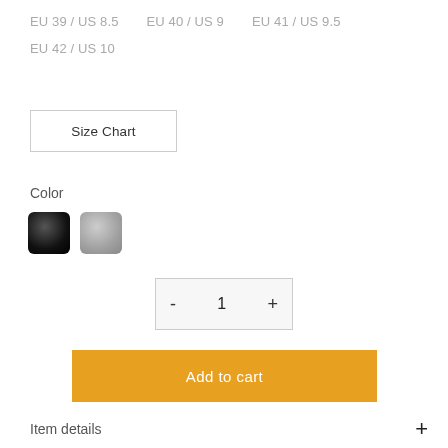EU 39 / US 8.5   EU 40 / US 9   EU 41 / US 9.5
EU 42 / US 10
Size Chart
Color
[Figure (other): Two color swatches: a dark black textured swatch and a gray textured swatch]
- 1 +
Add to cart
Item details